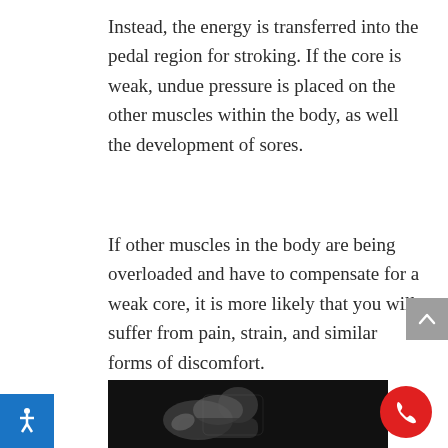Instead, the energy is transferred into the pedal region for stroking. If the core is weak, undue pressure is placed on the other muscles within the body, as well the development of sores.
If other muscles in the body are being overloaded and have to compensate for a weak core, it is more likely that you will suffer from pain, strain, and similar forms of discomfort.
[Figure (photo): Black and white photograph of a person exercising or cycling, partially visible at the bottom of the page against a dark background.]